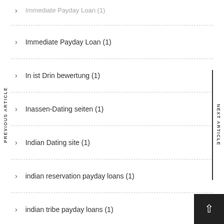Immediate Payday Loan (1)
In ist Drin bewertung (1)
Inassen-Dating seiten (1)
Indian Dating site (1)
indian reservation payday loans (1)
indian tribe payday loans (1)
Indiana Payday Loan (1)
Indiana payday loans online (1)